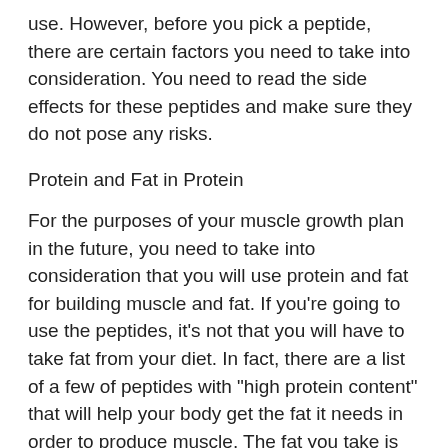use. However, before you pick a peptide, there are certain factors you need to take into consideration. You need to read the side effects for these peptides and make sure they do not pose any risks.
Protein and Fat in Protein
For the purposes of your muscle growth plan in the future, you need to take into consideration that you will use protein and fat for building muscle and fat. If you're going to use the peptides, it's not that you will have to take fat from your diet. In fact, there are a list of a few of peptides with "high protein content" that will help your body get the fat it needs in order to produce muscle. The fat you take is for muscle or fat building purposes, not to be replaced with protein.
If you have ever had a protein shake, you know that the protein may also boost protein